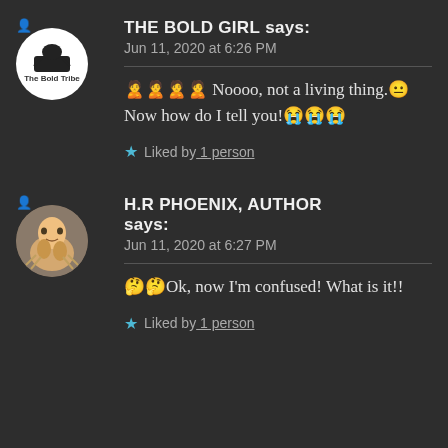THE BOLD GIRL says:
Jun 11, 2020 at 6:26 PM
🙎🙎🙎🙎 Noooo, not a living thing.😐 Now how do I tell you!😭😭😭
★ Liked by 1 person
H.R PHOENIX, AUTHOR says:
Jun 11, 2020 at 6:27 PM
🤔🤔Ok, now I'm confused! What is it!!
★ Liked by 1 person